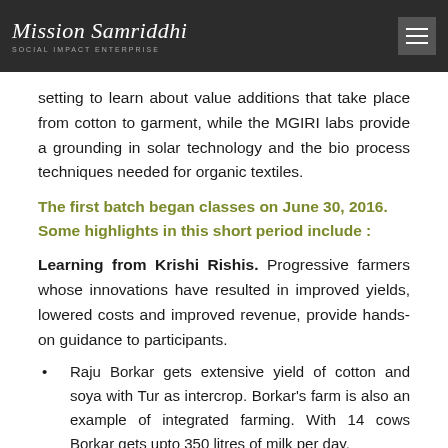Mission Samriddhi — Social Impact Enterprise
setting to learn about value additions that take place from cotton to garment, while the MGIRI labs provide a grounding in solar technology and the bio process techniques needed for organic textiles.
The first batch began classes on June 30, 2016. Some highlights in this short period include :
Learning from Krishi Rishis. Progressive farmers whose innovations have resulted in improved yields, lowered costs and improved revenue, provide hands-on guidance to participants.
Raju Borkar gets extensive yield of cotton and soya with Tur as intercrop. Borkar's farm is also an example of integrated farming. With 14 cows Borkar gets upto 350 litres of milk per day.